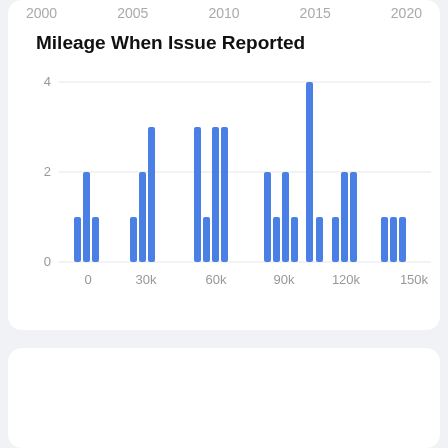[Figure (bar-chart): Mileage When Issue Reported]
Suspension
Includes issues with motion control systems such as